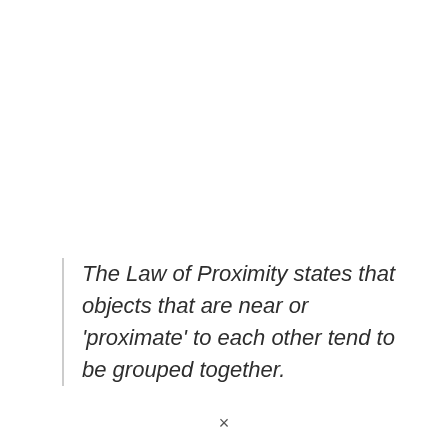The Law of Proximity states that objects that are near or 'proximate' to each other tend to be grouped together.
×